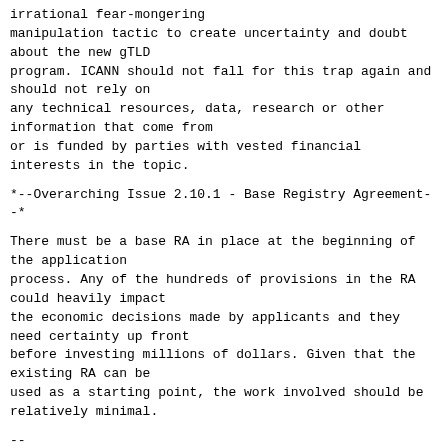irrational fear-mongering
manipulation tactic to create uncertainty and doubt about the new gTLD
program. ICANN should not fall for this trap again and should not rely on
any technical resources, data, research or other information that come from
or is funded by parties with vested financial interests in the topic.
*--Overarching Issue 2.10.1 - Base Registry Agreement--*
There must be a base RA in place at the beginning of the application
process. Any of the hundreds of provisions in the RA could heavily impact
the economic decisions made by applicants and they need certainty up front
before investing millions of dollars. Given that the existing RA can be
used as a starting point, the work involved should be relatively minimal.
--
*Grant Carpenter*
General Counsel, XYZ
--------------------------------
Please NOTE: This electronic message, including any
attachments, may